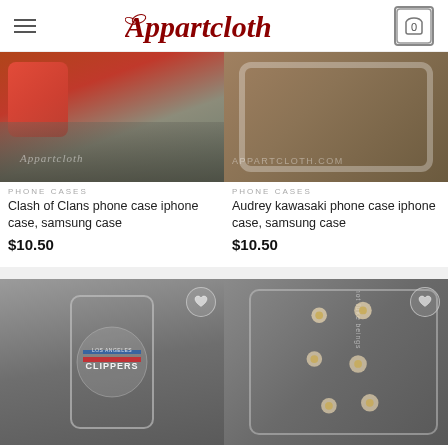Appartcloth
[Figure (photo): Clash of Clans phone case product photo showing red phone case on pebbles background with Appartcloth watermark]
PHONE CASES
Clash of Clans phone case iphone case, samsung case
$10.50
[Figure (photo): Audrey kawasaki phone case product photo showing wooden engraved phone case with appartcloth.com watermark]
PHONE CASES
Audrey kawasaki phone case iphone case, samsung case
$10.50
[Figure (photo): Los Angeles Clippers phone case product photo with heart/wishlist button]
[Figure (photo): Daisy flowers phone case product photo with heart/wishlist button]